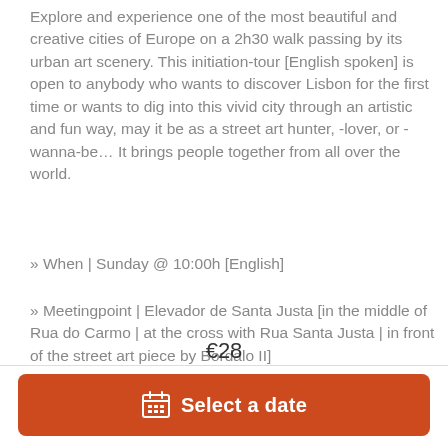Explore and experience one of the most beautiful and creative cities of Europe on a 2h30 walk passing by its urban art scenery. This initiation-tour [English spoken] is open to anybody who wants to discover Lisbon for the first time or wants to dig into this vivid city through an artistic and fun way, may it be as a street art hunter, -lover, or -wanna-be… It brings people together from all over the world.
» When | Sunday @ 10:00h [English]
» Meetingpoint | Elevador de Santa Justa [in the middle of Rua do Carmo | at the cross with Rua Santa Justa | in front of the street art piece by Bordalo II]
» What | A 3h street art walk & workshop* through the neighbourhoods of Mouraria and Graca with some of
€28
Select a date